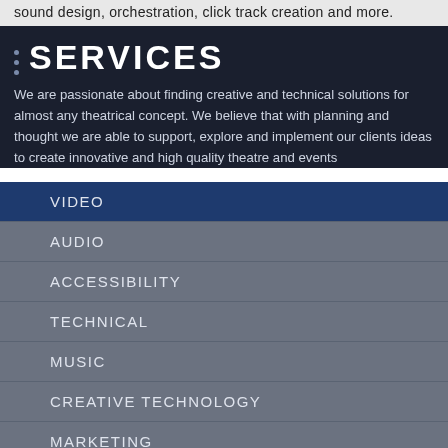sound design, orchestration, click track creation and more.
SERVICES
We are passionate about finding creative and technical solutions for almost any theatrical concept. We believe that with planning and thought we are able to support, explore and implement our clients ideas to create innovative and high quality theatre and events
VIDEO
AUDIO
ACCESSIBILITY
TECHNICAL
MUSIC
CREATIVE TECHNOLOGY
MARKETING